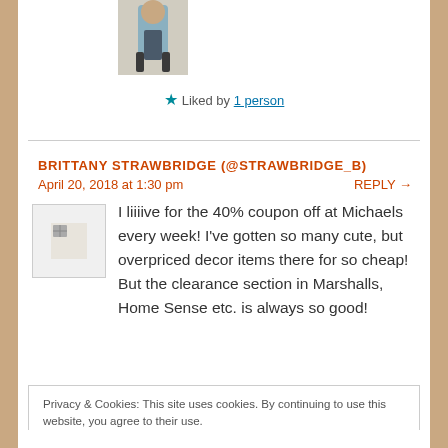[Figure (photo): Cropped avatar photo of a person walking, partially visible at top of page]
★ Liked by 1 person
BRITTANY STRAWBRIDGE (@STRAWBRIDGE_B)
April 20, 2018 at 1:30 pm
REPLY →
[Figure (photo): Small commenter avatar image placeholder (broken image icon)]
I liiiive for the 40% coupon off at Michaels every week! I've gotten so many cute, but overpriced decor items there for so cheap! But the clearance section in Marshalls, Home Sense etc. is always so good!
Privacy & Cookies: This site uses cookies. By continuing to use this website, you agree to their use.
To find out more, including how to control cookies, see here: Cookie Policy
Close and accept